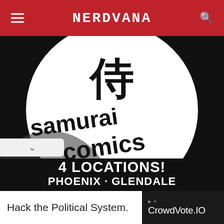NERDVANA
[Figure (logo): Samurai Comics logo on black background. White circle with Japanese kanji character at top and bold text 'samurai comics' in the center. Bottom text reads '4 LOCATIONS! PHOENIX · GLENDALE' and partially visible third line.]
Hack the Political System.
CrowdVote.IO